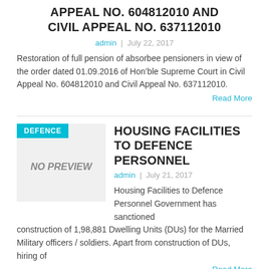APPEAL NO. 604812010 AND CIVIL APPEAL NO. 637112010
admin  |  July 22, 2017
Restoration of full pension of absorbee pensioners in view of the order dated 01.09.2016 of Hon'ble Supreme Court in Civil Appeal No. 604812010 and Civil Appeal No. 637112010.
Read More
HOUSING FACILITIES TO DEFENCE PERSONNEL
admin  |  July 21, 2017
Housing Facilities to Defence Personnel Government has sanctioned construction of 1,98,881 Dwelling Units (DUs) for the Married Military officers / soldiers. Apart from construction of DUs, hiring of
Read More